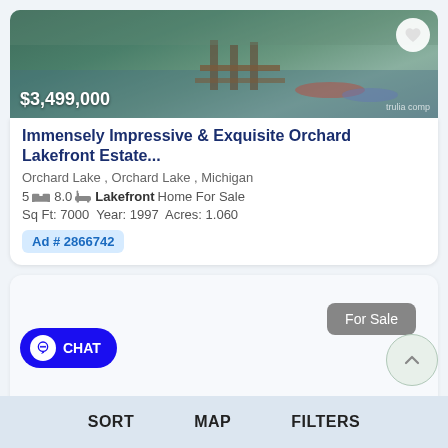[Figure (photo): Aerial/waterfront photo of a lakefront property with docks and water, showing $3,499,000 price overlay and a heart/favorite button]
Immensely Impressive & Exquisite Orchard Lakefront Estate...
Orchard Lake , Orchard Lake , Michigan
5 [bed icon] 8.0 [bath icon] Lakefront Home For Sale
Sq Ft: 7000  Year: 1997  Acres: 1.060
Ad # 2866742
[Figure (screenshot): Second listing card placeholder with a 'For Sale' button, partially visible]
CHAT
SORT  MAP  FILTERS